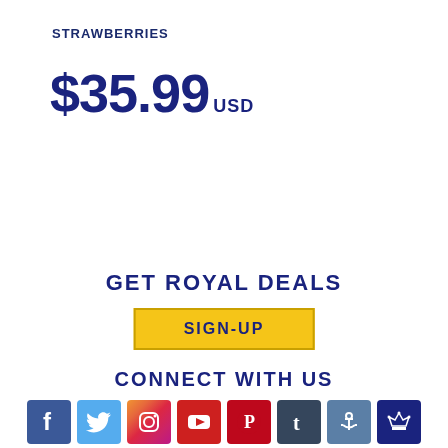STRAWBERRIES
$35.99 USD
GET ROYAL DEALS
SIGN-UP
CONNECT WITH US
[Figure (other): Row of social media icons: Facebook, Twitter, Instagram, YouTube, Pinterest, Tumblr, Royal Caribbean anchor badge, Royal Caribbean crown anchor badge]